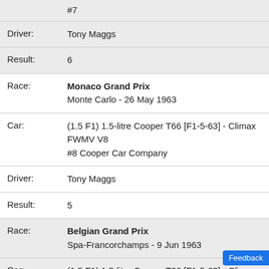#7
Driver: Tony Maggs
Result: 6
Race: Monaco Grand Prix
Monte Carlo - 26 May 1963
Car: (1.5 F1) 1.5-litre Cooper T66 [F1-5-63] - Climax FWMV V8
#8 Cooper Car Company
Driver: Tony Maggs
Result: 5
Race: Belgian Grand Prix
Spa-Francorchamps - 9 Jun 1963
Car: (1.5 F1) 1.5-litre Cooper T66 [F1-5-63] - Climax FWMV V8
#15 Cooper Car Company